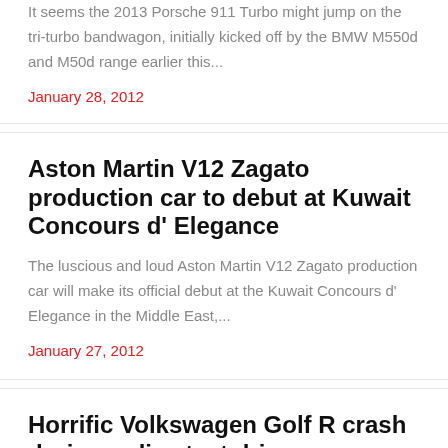It seems the 2013 Porsche 911 Turbo might jump on the tri-turbo bandwagon, initially kicked off by the BMW M550d and M50d range earlier this...
January 28, 2012
Aston Martin V12 Zagato production car to debut at Kuwait Concours d' Elegance
The luscious and loud Aston Martin V12 Zagato production car will make its official debut at the Kuwait Concours d' Elegance in the Middle East,...
January 27, 2012
Horrific Volkswagen Golf R crash during police test drive